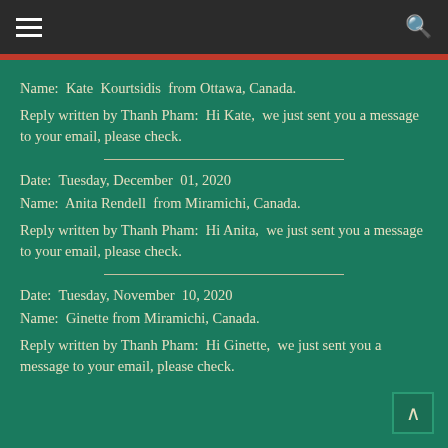Navigation header with hamburger menu and search icon
Name:  Kate  Kourtsidis  from Ottawa, Canada.
Reply written by Thanh Pham:  Hi Kate,  we just sent you a message to your email, please check.
Date:  Tuesday, December  01, 2020
Name:  Anita Rendell  from Miramichi, Canada.
Reply written by Thanh Pham:  Hi Anita,  we just sent you a message to your email, please check.
Date:  Tuesday, November  10, 2020
Name:  Ginette from Miramichi, Canada.
Reply written by Thanh Pham:  Hi Ginette,  we just sent you a message to your email, please check.